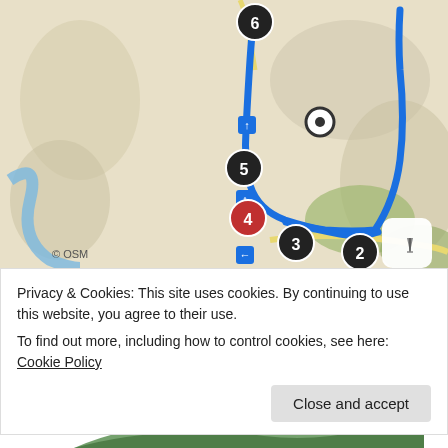[Figure (map): A map screenshot showing a route with numbered waypoints 2-6 connected by a blue line on a terrain background (OSM). Waypoint 4 is highlighted in red. Navigation arrows are shown as blue squares along the route. A location marker with a white circle is visible. A compass/navigation button is in the bottom-right corner. Attribution '© OSM' is shown in the lower left.]
Elevation profile
Privacy & Cookies: This site uses cookies. By continuing to use this website, you agree to their use.
To find out more, including how to control cookies, see here: Cookie Policy
Close and accept
520 m